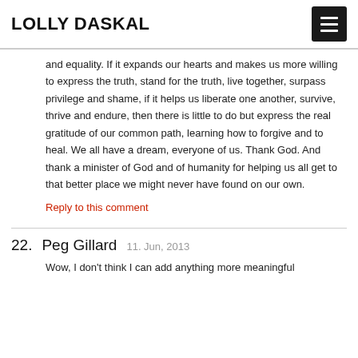LOLLY DASKAL
and equality. If it expands our hearts and makes us more willing to express the truth, stand for the truth, live together, surpass privilege and shame, if it helps us liberate one another, survive, thrive and endure, then there is little to do but express the real gratitude of our common path, learning how to forgive and to heal. We all have a dream, everyone of us. Thank God. And thank a minister of God and of humanity for helping us all get to that better place we might never have found on our own.
Reply to this comment
22. Peg Gillard   11. Jun, 2013
Wow, I don't think I can add anything more meaningful